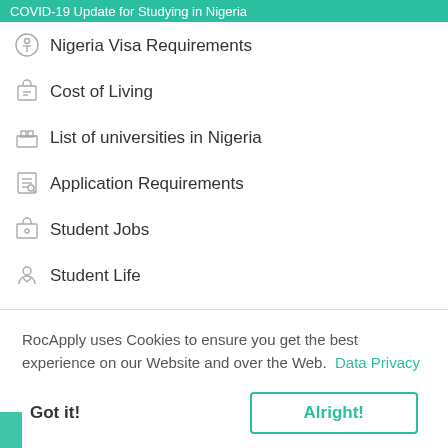COVID-19 Update for Studying in Nigeria
Nigeria Visa Requirements
Cost of Living
List of universities in Nigeria
Application Requirements
Student Jobs
Student Life
Step-by-step Admission Process
Documents students should carry to Nigeria
RocApply uses Cookies to ensure you get the best experience on our Website and over the Web.  Data Privacy
Got it!   Alright!